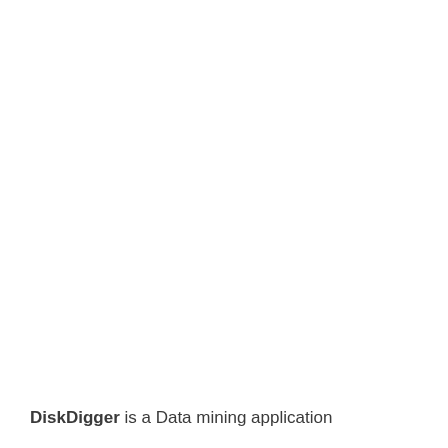DiskDigger is a Data mining application